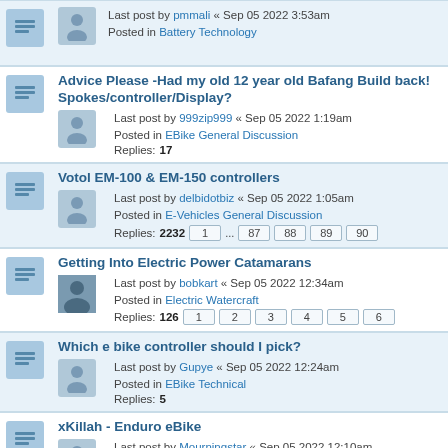Last post by pmmali « Sep 05 2022 3:53am
Posted in Battery Technology
Advice Please -Had my old 12 year old Bafang Build back! Spokes/controller/Display?
Last post by 999zip999 « Sep 05 2022 1:19am
Posted in EBike General Discussion
Replies: 17
Votol EM-100 & EM-150 controllers
Last post by delbidotbiz « Sep 05 2022 1:05am
Posted in E-Vehicles General Discussion
Replies: 2232  1 ... 87 88 89 90
Getting Into Electric Power Catamarans
Last post by bobkart « Sep 05 2022 12:34am
Posted in Electric Watercraft
Replies: 126  1 2 3 4 5 6
Which e bike controller should I pick?
Last post by Gupye « Sep 05 2022 12:24am
Posted in EBike Technical
Replies: 5
xKillah - Enduro eBike
Last post by Mourningstar « Sep 05 2022 12:10am
Posted in EBike Build Threads
Replies: 93  1 2 3 4
Bionx throttle